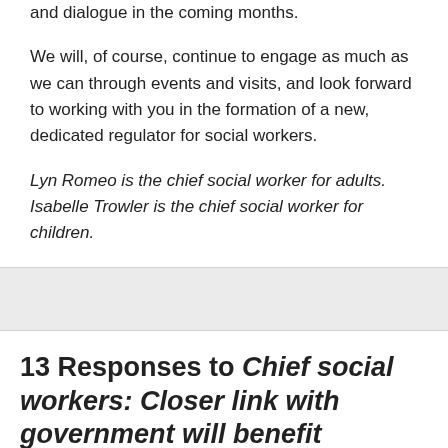and dialogue in the coming months.
We will, of course, continue to engage as much as we can through events and visits, and look forward to working with you in the formation of a new, dedicated regulator for social workers.
Lyn Romeo is the chief social worker for adults. Isabelle Trowler is the chief social worker for children.
13 Responses to Chief social workers: Closer link with government will benefit profession
Nick Johnson July 1, 2016 at 10:10 am #
But they would say that – they are part of the government – I think